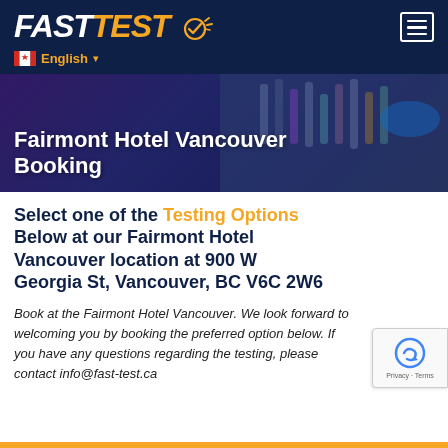FASTTEST
Fairmont Hotel Vancouver Booking
Select one of the Testing Options Below at our Fairmont Hotel Vancouver location at 900 W Georgia St, Vancouver, BC V6C 2W6
Book at the Fairmont Hotel Vancouver. We look forward to welcoming you by booking the preferred option below. If you have any questions regarding the testing, please contact info@fast-test.ca